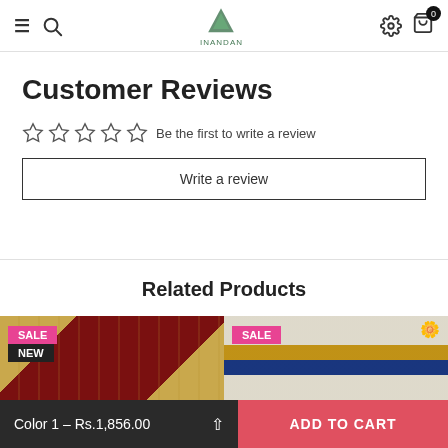Navigation bar with menu, search, logo, settings, and cart (0 items)
Customer Reviews
☆☆☆☆☆ Be the first to write a review
Write a review
Related Products
[Figure (photo): Two related fabric/saree product cards with SALE and NEW badges]
Color 1 – Rs.1,856.00   ADD TO CART